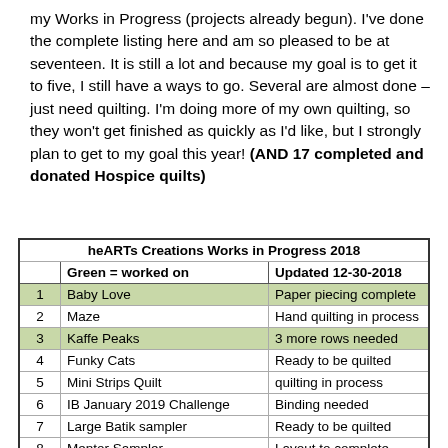my Works in Progress (projects already begun). I've done the complete listing here and am so pleased to be at seventeen. It is still a lot and because my goal is to get it to five, I still have a ways to go. Several are almost done – just need quilting. I'm doing more of my own quilting, so they won't get finished as quickly as I'd like, but I strongly plan to get to my goal this year! (AND 17 completed and donated Hospice quilts)
|  | Green = worked on | Updated 12-30-2018 |
| --- | --- | --- |
| 1 | Baby Love | Paper piecing complete |
| 2 | Maze | Hand quilting in process |
| 3 | Kaffe Peaks | 3 more rows needed |
| 4 | Funky Cats | Ready to be quilted |
| 5 | Mini Strips Quilt | quilting in process |
| 6 | IB January 2019 Challenge | Binding needed |
| 7 | Large Batik sampler | Ready to be quilted |
| 8 | Mentor Sampler | Layout to complete |